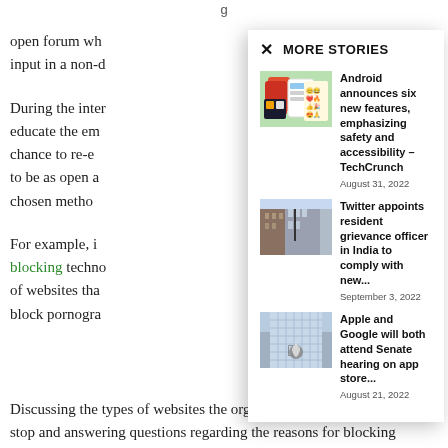open forum wh... input in a non-d...
During the inter... educate the em... chance to re-e... to be as open a... chosen metho...
For example, i... blocking techno... of websites tha... block pornogra...
MORE STORIES
[Figure (photo): Smartphone with messaging app and emoji keyboard on green background]
Android announces six new features, emphasizing safety and accessibility – TechCrunch
August 31, 2022
[Figure (photo): Looking up at tall brick buildings with street lamp]
Twitter appoints resident grievance officer in India to comply with new...
September 3, 2022
[Figure (photo): Looking up at glass skyscraper with Apple logo]
Apple and Google will both attend Senate hearing on app store...
August 21, 2022
Discussing the types of websites the organization has decided to stop and answering questions regarding the reasons for blocking